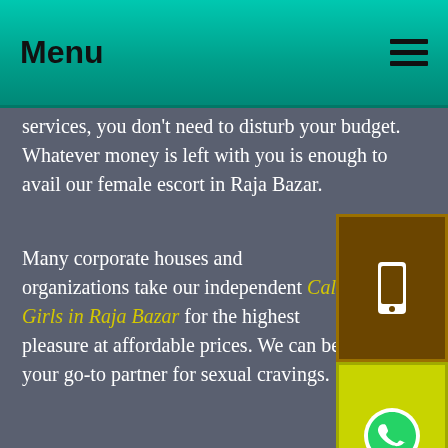Menu
services, you don't need to disturb your budget. Whatever money is left with you is enough to avail our female escort in Raja Bazar.
Many corporate houses and organizations take our independent Call Girls in Raja Bazar for the highest pleasure at affordable prices. We can be your go-to partner for sexual cravings.
Hence whenever any sexual feeling arose and you want to convey it, gorgeous girls. Then heading towards our escort service in Raja Bazar is the best. No matter whether it's late-night or early morning, our escort girls will keep offering you the highest plea...
Now, you don't need to suffer anymore with your partner. We will solve and answer all your cravings...